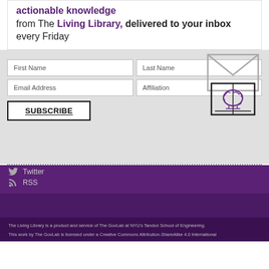actionable knowledge from The Living Library, delivered to your inbox every Friday
[Figure (illustration): Icon of an envelope with a brain/book illustration inside, outlined in gray and purple]
First Name | Last Name | Email Address | Affiliation (form fields)
SUBSCRIBE (button)
RSS
The Living Library is a product and service of The GovLab at NYU's Tandon School of Engineering. This work by The GovLab is licensed under a Creative Commons Attribution-ShareAlike 4.0 International